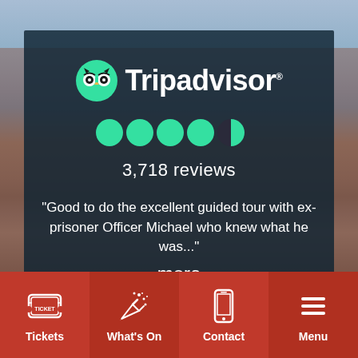[Figure (screenshot): TripAdvisor widget showing logo, 4.5 star rating, 3,718 reviews, and a review quote about a guided tour with ex-prisoner Officer Michael]
3,718 reviews
“Good to do the excellent guided tour with ex-prisoner Officer Michael who knew what he was...” more
Read reviews | Write a review
Tickets
What's On
Contact
Menu